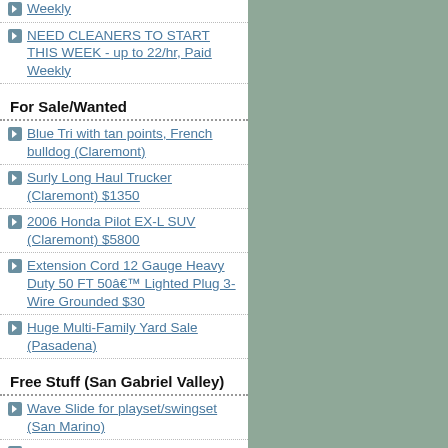Weekly
NEED CLEANERS TO START THIS WEEK - up to 22/hr, Paid Weekly
For Sale/Wanted
Blue Tri with tan points, French bulldog (Claremont)
Surly Long Haul Trucker (Claremont) $1350
2006 Honda Pilot EX-L SUV (Claremont) $5800
Extension Cord 12 Gauge Heavy Duty 50 FT 50â€™ Lighted Plug 3-Wire Grounded $30
Huge Multi-Family Yard Sale (Pasadena)
Free Stuff (San Gabriel Valley)
Wave Slide for playset/swingset (San Marino)
FREE Packing Materials